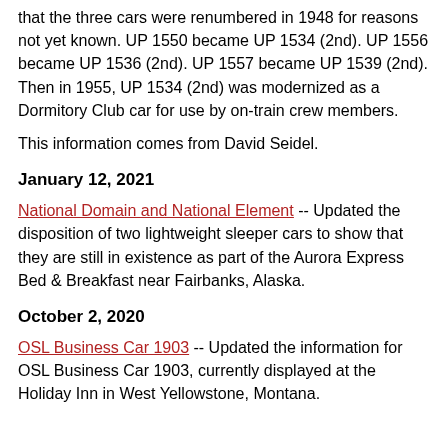that the three cars were renumbered in 1948 for reasons not yet known. UP 1550 became UP 1534 (2nd). UP 1556 became UP 1536 (2nd). UP 1557 became UP 1539 (2nd). Then in 1955, UP 1534 (2nd) was modernized as a Dormitory Club car for use by on-train crew members.
This information comes from David Seidel.
January 12, 2021
National Domain and National Element -- Updated the disposition of two lightweight sleeper cars to show that they are still in existence as part of the Aurora Express Bed & Breakfast near Fairbanks, Alaska.
October 2, 2020
OSL Business Car 1903 -- Updated the information for OSL Business Car 1903, currently displayed at the Holiday Inn in West Yellowstone, Montana.